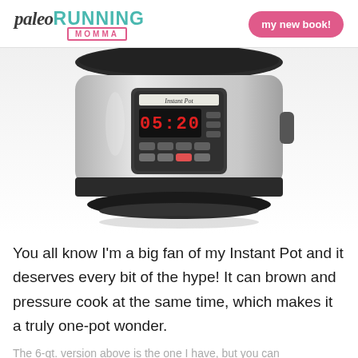paleo RUNNING MOMMA | my new book!
[Figure (photo): An Instant Pot pressure cooker with stainless steel body, black lid, and digital display showing 05:20]
You all know I'm a big fan of my Instant Pot and it deserves every bit of the hype!  It can brown and pressure cook at the same time, which makes it a truly one-pot wonder.
The 6-qt. version above is the one I have, but you can